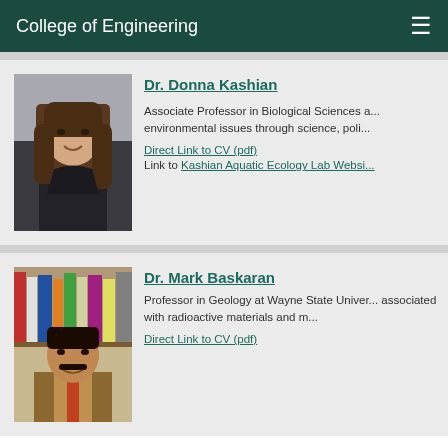College of Engineering
[Figure (photo): Headshot photo of Dr. Donna Kashian, a woman with long brown hair wearing a black top]
Dr. Donna Kashian
Associate Professor in Biological Sciences a... environmental issues through science, poli...
Direct Link to CV (pdf)
Link to Kashian Aquatic Ecology Lab Websi...
[Figure (photo): Headshot photo of Dr. Mark Baskaran, a man with dark hair and mustache wearing a suit]
Dr. Mark Baskaran
Professor in Geology at Wayne State Univer... associated with radioactive materials and m...
Direct Link to CV (pdf)